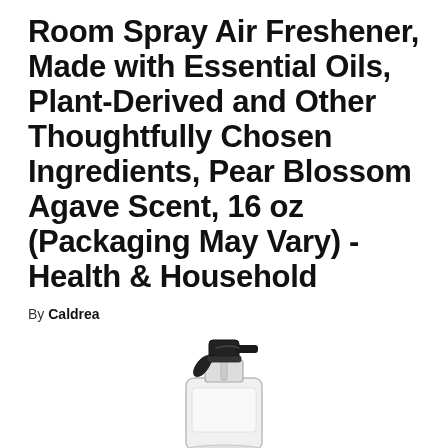Room Spray Air Freshener, Made with Essential Oils, Plant-Derived and Other Thoughtfully Chosen Ingredients, Pear Blossom Agave Scent, 16 oz (Packaging May Vary) - Health & Household
By Caldrea
[Figure (photo): A spray bottle product (room spray air freshener) with a black trigger spray pump top and a clear/white bottle body, partially visible at the bottom of the page.]